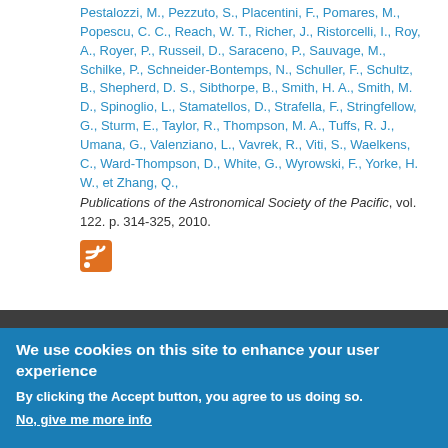Pestalozzi, M., Pezzuto, S., Placentini, F., Pomares, M., Popescu, C. C., Reach, W. T., Richer, J., Ristorcelli, I., Roy, A., Royer, P., Russeil, D., Saraceno, P., Sauvage, M., Schilke, P., Schneider-Bontemps, N., Schuller, F., Schultz, B., Shepherd, D. S., Sibthorpe, B., Smith, H. A., Smith, M. D., Spinoglio, L., Stamatellos, D., Strafella, F., Stringfellow, G., Sturm, E., Taylor, R., Thompson, M. A., Tuffs, R. J., Umana, G., Valenziano, L., Vavrek, R., Viti, S., Waelkens, C., Ward-Thompson, D., White, G., Wyrowski, F., Yorke, H. W., et Zhang, Q., Publications of the Astronomical Society of the Pacific, vol. 122. p. 314-325, 2010.
[Figure (other): RSS feed icon (orange square with white wifi-style signal arcs)]
We use cookies on this site to enhance your user experience
By clicking the Accept button, you agree to us doing so.
No, give me more info